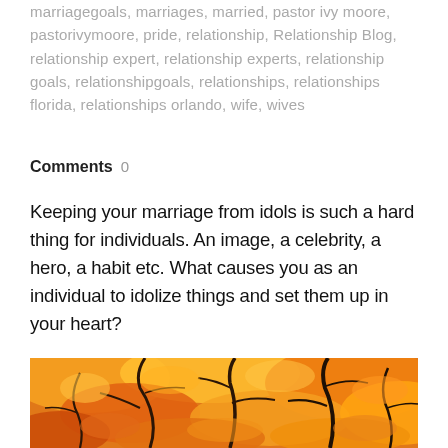marriagegoals, marriages, married, pastor ivy moore, pastorivymoore, pride, relationship, Relationship Blog, relationship expert, relationship experts, relationship goals, relationshipgoals, relationships, relationships florida, relationships orlando, wife, wives
Comments  0
Keeping your marriage from idols is such a hard thing for individuals. An image, a celebrity, a hero, a habit etc. What causes you as an individual to idolize things and set them up in your heart?
[Figure (photo): Autumn tree with orange and red leaves photographed from below, branches visible against a dense canopy of fall foliage in shades of orange, red, and yellow.]